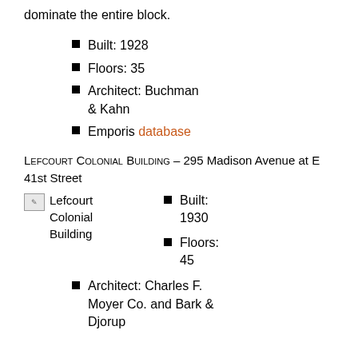dominate the entire block.
Built: 1928
Floors: 35
Architect: Buchman & Kahn
Emporis database
Lefcourt Colonial Building – 295 Madison Avenue at E 41st Street
[Figure (photo): Broken image placeholder labeled Lefcourt Colonial Building]
Built: 1930
Floors: 45
Architect: Charles F. Moyer Co. and Bark & Djorup